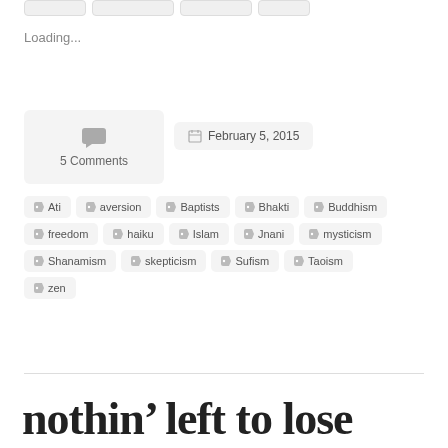Loading...
5 Comments
February 5, 2015
Ati
aversion
Baptists
Bhakti
Buddhism
freedom
haiku
Islam
Jnani
mysticism
Shanamism
skepticism
Sufism
Taoism
zen
nothin' left to lose